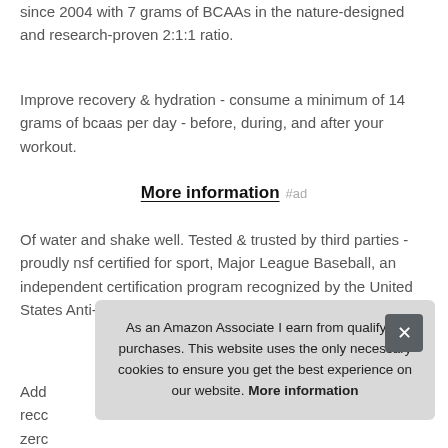since 2004 with 7 grams of BCAAs in the nature-designed and research-proven 2:1:1 ratio.
Improve recovery & hydration - consume a minimum of 14 grams of bcaas per day - before, during, and after your workout.
More information #ad
Of water and shake well. Tested & trusted by third parties - proudly nsf certified for sport, Major League Baseball, an independent certification program recognized by the United States Anti-Doping Agency USADA, the National Hockey Lea
Add reco zero
As an Amazon Associate I earn from qualifying purchases. This website uses the only necessary cookies to ensure you get the best experience on our website. More information